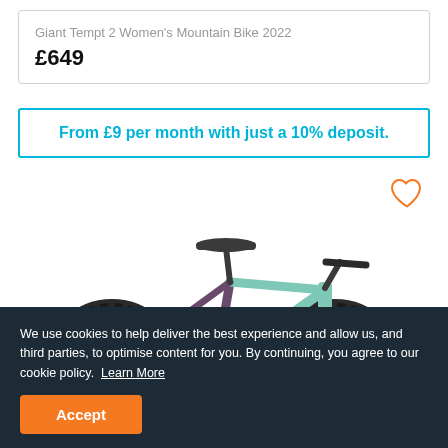Giant Tempt 2 Women's Mountain Bike 2022
£649
From £9 per month with just a 10% deposit.
[Figure (photo): Mountain bike (Giant Liv brand) in mint green and dark purple color, side view, on white background. Large knobby tires visible.]
We use cookies to help deliver the best experience and allow us, and third parties, to optimise content for you. By continuing, you agree to our cookie policy. Learn More
Accept